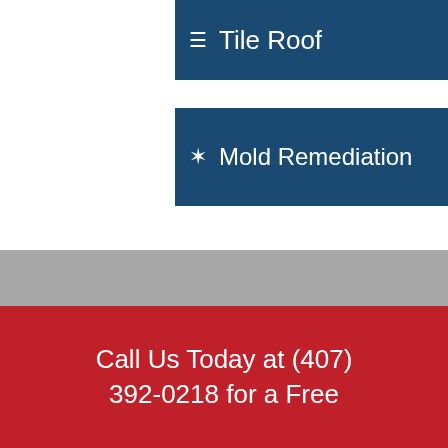Tile Roof
Mold Remediation
[Figure (logo): BBB Accredited Business badge with teal background]
[Figure (logo): HAAG Certified Inspector Residential Roofs circular badge]
Call Us Today at (407) 392-0218 for a Free